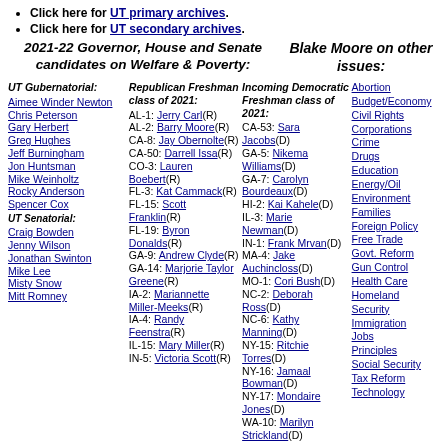Click here for UT primary archives.
Click here for UT secondary archives.
2021-22 Governor, House and Senate candidates on Welfare & Poverty:
Blake Moore on other issues:
UT Gubernatorial: Aimee Winder Newton, Chris Peterson, Gary Herbert, Greg Hughes, Jeff Burningham, Jon Huntsman, Mike Weinholtz, Rocky Anderson, Spencer Cox
UT Senatorial: Craig Bowden, Jenny Wilson, Jonathan Swinton, Mike Lee, Misty Snow, Mitt Romney
Republican Freshman class of 2021: AL-1: Jerry Carl(R), AL-2: Barry Moore(R), CA-8: Jay Obernolte(R), CA-50: Darrell Issa(R), CO-3: Lauren Boebert(R), FL-3: Kat Cammack(R), FL-15: Scott Franklin(R), FL-19: Byron Donalds(R), GA-9: Andrew Clyde(R), GA-14: Marjorie Taylor Greene(R), IA-2: Mariannette Miller-Meeks(R), IA-4: Randy Feenstra(R), IL-15: Mary Miller(R), IN-5: Victoria Scott(R)
Incoming Democratic Freshman class of 2021: CA-53: Sara Jacobs(D), GA-5: Nikema Williams(D), GA-7: Carolyn Bourdeaux(D), HI-2: Kai Kahele(D), IL-3: Marie Newman(D), IN-1: Frank Mrvan(D), MA-4: Jake Auchincloss(D), MO-1: Cori Bush(D), NC-2: Deborah Ross(D), NC-6: Kathy Manning(D), NY-15: Ritchie Torres(D), NY-16: Jamaal Bowman(D), NY-17: Mondaire Jones(D), WA-10: Marilyn Strickland(D)
Abortion, Budget/Economy, Civil Rights, Corporations, Crime, Drugs, Education, Energy/Oil, Environment, Families, Foreign Policy, Free Trade, Govt. Reform, Gun Control, Health Care, Homeland Security, Immigration, Jobs, Principles, Social Security, Tax Reform, Technology